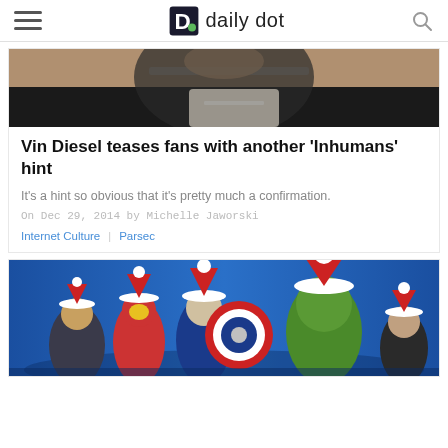daily dot
[Figure (photo): Person in black shirt at a panel event, leaning forward toward a microphone]
Vin Diesel teases fans with another ‘Inhumans’ hint
It’s a hint so obvious that it’s pretty much a confirmation.
On Dec 29, 2014 by Michelle Jaworski
Internet Culture   Parsec
[Figure (photo): Avengers characters (Iron Man, Captain America, Hulk, Black Widow, and others) wearing Santa hats against a blue background]